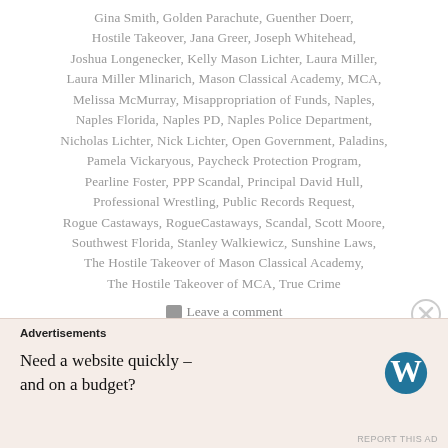Gina Smith, Golden Parachute, Guenther Doerr, Hostile Takeover, Jana Greer, Joseph Whitehead, Joshua Longenecker, Kelly Mason Lichter, Laura Miller, Laura Miller Mlinarich, Mason Classical Academy, MCA, Melissa McMurray, Misappropriation of Funds, Naples, Naples Florida, Naples PD, Naples Police Department, Nicholas Lichter, Nick Lichter, Open Government, Paladins, Pamela Vickaryous, Paycheck Protection Program, Pearline Foster, PPP Scandal, Principal David Hull, Professional Wrestling, Public Records Request, Rogue Castaways, RogueCastaways, Scandal, Scott Moore, Southwest Florida, Stanley Walkiewicz, Sunshine Laws, The Hostile Takeover of Mason Classical Academy, The Hostile Takeover of MCA, True Crime
Leave a comment
Advertisements
Need a website quickly – and on a budget?